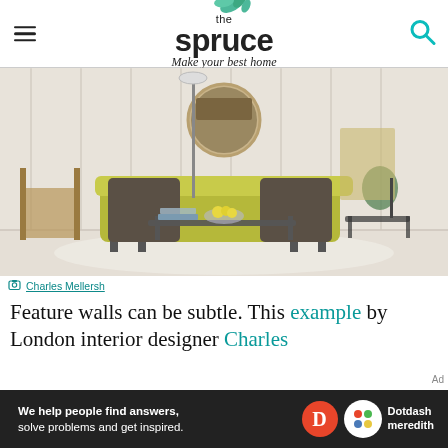the spruce — Make your best home
[Figure (photo): Interior living room with a yellow-green sofa, two dark grey throw pillows, a round mirror on the wall, floor lamp, wooden chair, marble coffee table with books and a bowl of lemons, and decorative items on a side table against white paneled walls.]
Charles Mellersh
Feature walls can be subtle. This example by London interior designer Charles
[Figure (infographic): Advertisement banner: 'We help people find answers, solve problems and get inspired.' with Dotdash Meredith logo]